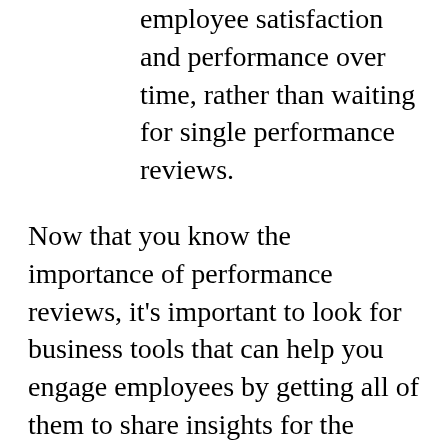employee satisfaction and performance over time, rather than waiting for single performance reviews.
Now that you know the importance of performance reviews, it's important to look for business tools that can help you engage employees by getting all of them to share insights for the success of your evaluation.
Thankfully, VibeCatch helps you achieve employee feedback more effectively and efficiently.